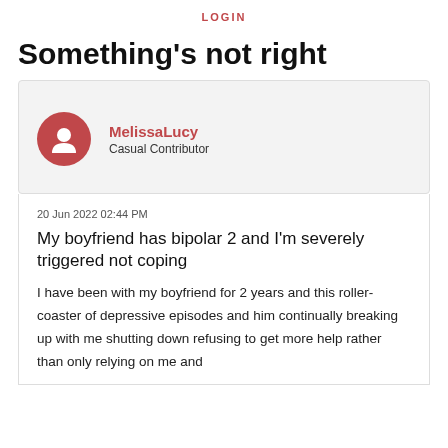LOGIN
Something's not right
MelissaLucy
Casual Contributor
20 Jun 2022 02:44 PM
My boyfriend has bipolar 2 and I'm severely triggered not coping
I have been with my boyfriend for 2 years and this roller-coaster of depressive episodes and him continually breaking up with me shutting down refusing to get more help rather than only relying on me and